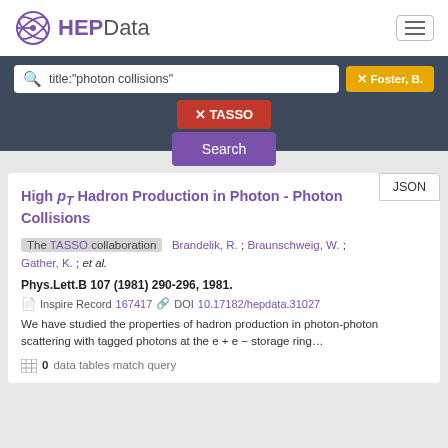[Figure (logo): HEPData logo with purple circular atom icon and HEPData text]
title:"photon collisions"
✕ Foster, B.
✕ TASSO
Search
JSON
High pT Hadron Production in Photon - Photon Collisions
The TASSO collaboration   Brandelik, R. ; Braunschweig, W. ; Gather, K. ; et al.
Phys.Lett.B 107 (1981) 290-296, 1981.
Inspire Record 167417  DOI 10.17182/hepdata.31027
We have studied the properties of hadron production in photon-photon scattering with tagged photons at the e + e − storage ring…
0 data tables match query